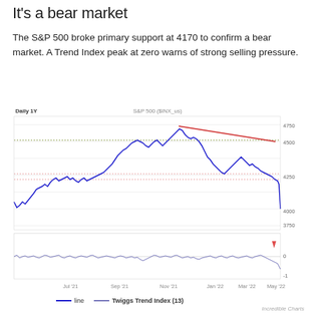It's a bear market
The S&P 500 broke primary support at 4170 to confirm a bear market. A Trend Index peak at zero warns of strong selling pressure.
[Figure (continuous-plot): Daily 1Y line chart of S&P 500 ($INX_us) from Jun '21 to May '22 with Twiggs Trend Index (13) panel below. Price chart shows S&P 500 line in dark blue ranging from ~4100 to ~4800, with a descending red trendline from Jan '22 highs, a green dotted horizontal support/resistance around 4540, and red dotted lines around 4170-4250 zone. Price falls sharply at the right to ~4000. Trend Index panel shows a thin blue line oscillating around 0, with a red down-arrow annotation near May '22 where Trend Index peaks at zero.]
— line   — Twiggs Trend Index (13)
Incredible Charts